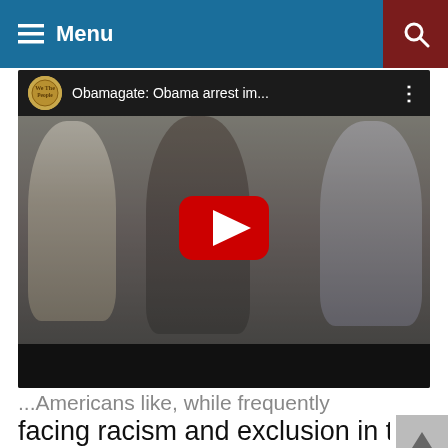Menu
[Figure (screenshot): YouTube video thumbnail showing title 'Obamagate: Obama arrest im...' with three men in suits walking, a red YouTube play button overlay, and a channel logo in the top left.]
...Americans like, while frequently facing racism and exclusion in the process.